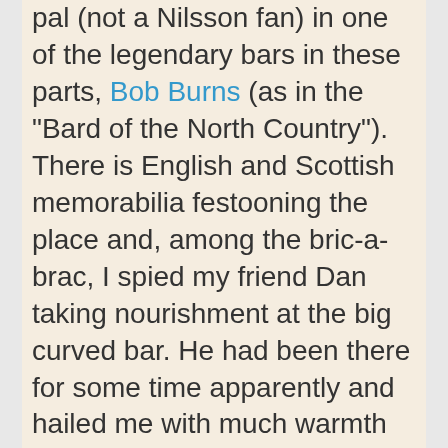pal (not a Nilsson fan) in one of the legendary bars in these parts, Bob Burns (as in the "Bard of the North Country"). There is English and Scottish memorabilia festooning the place and, among the bric-a-brac, I spied my friend Dan taking nourishment at the big curved bar. He had been there for some time apparently and hailed me with much warmth and hilarity. He then pointed to a mounted coat-of-arms on the wall behind me. "Don't you love that motto?" he said. "Do it on Monday." I looked and sure enough, there was the phrase: "Dieu Et Mon Droit". Then I remembered hearing that Harry's mom lived in Santa